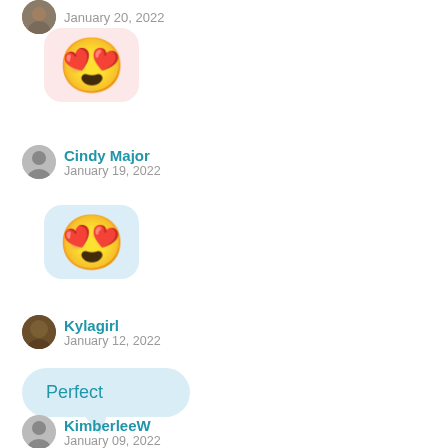January 20, 2022
[Figure (illustration): Heart-eyes emoji in pink rounded square bubble]
Cindy Major
January 19, 2022
[Figure (illustration): Heart-eyes emoji in blue rounded square bubble]
Kylagirl
January 12, 2022
Perfect
KimberleeW
January 09, 2022
[Figure (illustration): Party popper emoji in peach rounded square bubble (partially visible)]